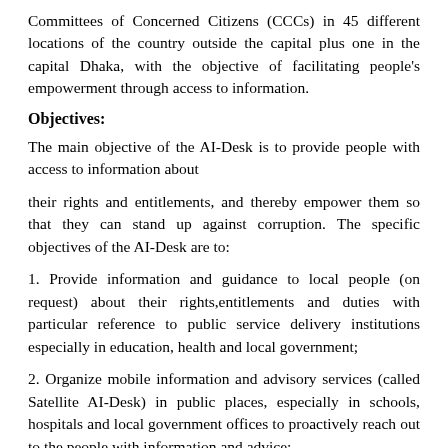Committees of Concerned Citizens (CCCs) in 45 different locations of the country outside the capital plus one in the capital Dhaka, with the objective of facilitating people's empowerment through access to information.
Objectives:
The main objective of the AI-Desk is to provide people with access to information about
their rights and entitlements, and thereby empower them so that they can stand up against corruption. The specific objectives of the AI-Desk are to:
1. Provide information and guidance to local people (on request) about their rights,entitlements and duties with particular reference to public service delivery institutions especially in education, health and local government;
2. Organize mobile information and advisory services (called Satellite AI-Desk) in public places, especially in schools, hospitals and local government offices to proactively reach out to the people with information and advice;